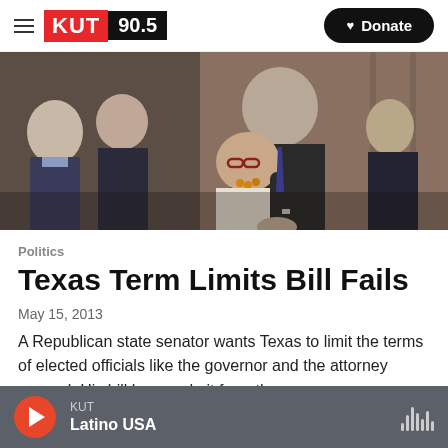KUT 90.5 — Donate
[Figure (photo): Two people hugging at what appears to be a government or formal event, with other suited individuals visible in the background]
Politics
Texas Term Limits Bill Fails
May 15, 2013
A Republican state senator wants Texas to limit the terms of elected officials like the governor and the attorney general. His bill has made it from the…
KUT — Latino USA